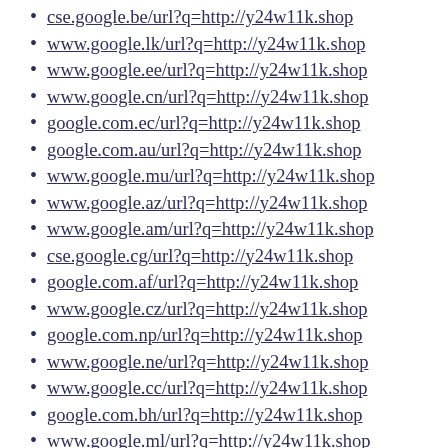cse.google.be/url?q=http://y24w11k.shop
www.google.lk/url?q=http://y24w11k.shop
www.google.ee/url?q=http://y24w11k.shop
www.google.cn/url?q=http://y24w11k.shop
google.com.ec/url?q=http://y24w11k.shop
google.com.au/url?q=http://y24w11k.shop
www.google.mu/url?q=http://y24w11k.shop
www.google.az/url?q=http://y24w11k.shop
www.google.am/url?q=http://y24w11k.shop
cse.google.cg/url?q=http://y24w11k.shop
google.com.af/url?q=http://y24w11k.shop
www.google.cz/url?q=http://y24w11k.shop
google.com.np/url?q=http://y24w11k.shop
www.google.ne/url?q=http://y24w11k.shop
www.google.cc/url?q=http://y24w11k.shop
google.com.bh/url?q=http://y24w11k.shop
www.google.ml/url?q=http://y24w11k.shop
www.google.dj/url?q=http://y24w11k.shop
www.google.st/url?q=http://y24w11k.shop